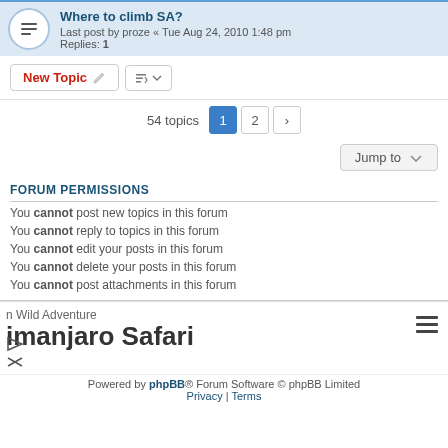Where to climb SA? Last post by proze « Tue Aug 24, 2010 1:48 pm Replies: 1
New Topic | Sort | 54 topics 1 2 >
Jump to
FORUM PERMISSIONS
You cannot post new topics in this forum
You cannot reply to topics in this forum
You cannot edit your posts in this forum
You cannot delete your posts in this forum
You cannot post attachments in this forum
n Wild Adventure
Imanjaro Safari
Powered by phpBB® Forum Software © phpBB Limited Privacy | Terms